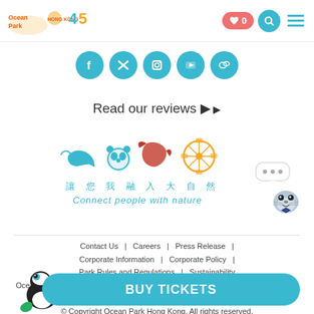[Figure (logo): Ocean Park Hong Kong logo with 45th anniversary badge, navigation icons (heart with 0, search, menu)]
[Figure (illustration): Five teal circular social media icons (Facebook, Twitter, Instagram, YouTube, and one more)]
Read our reviews ▶
[Figure (logo): Ocean Park tagline logo with dolphin, panda, eagle, ferris wheel icons and text '讓您我融入大自然 Connect people with nature']
[Figure (illustration): Cartoon seal/otter mascot with speech bubble containing three dots]
Contact Us | Careers | Press Release | Corporate Information | Corporate Policy | Park Rules and Regulations | Sustainability
Ocean Park Hong Kong, 180 Wong Chuk Hang Road, Aberdeen, Hong Kong     Tel: (852) 3923 2323     Fax: (852) 2873 5584
© Copyright Ocean Park Hong Kong. All rights reserved.
[Figure (illustration): Toucan bird illustration next to BUY TICKETS button]
BUY TICKETS